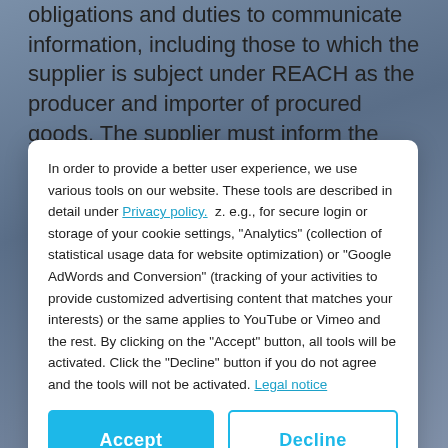obligations and duties to communicate information, including those to which the supplier is subject under REACH as the producer and importer of procured goods. The supplier must inform the buyer without undue delay about relevant changes caused by statutory provisions, especially REACH, to goods or their delivery capacity, usage or quality and must
In order to provide a better user experience, we use various tools on our website. These tools are described in detail under Privacy policy. z. e.g., for secure login or storage of your cookie settings, "Analytics" (collection of statistical usage data for website optimization) or "Google AdWords and Conversion" (tracking of your activities to provide customized advertising content that matches your interests) or the same applies to YouTube or Vimeo and the rest. By clicking on the "Accept" button, all tools will be activated. Click the "Decline" button if you do not agree and the tools will not be activated. Legal notice